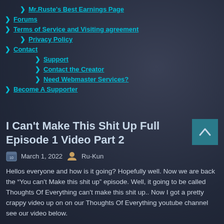Mr.Ruste's Best Earnings Page
Forums
Terms of Service and Visiting agreement
Privacy Policy
Contact
Support
Contact the Creator
Need Webmaster Services?
Become A Supporter
I Can't Make This Shit Up Full Episode 1 Video Part 2
March 1, 2022   Ru-Kun
Hellos everyone and how is it going? Hopefully well. Now we are back the “You can't Make this shit up” episode. Well, it going to be called Thoughts Of Everything can't make this shit up.. Now I got a pretty crappy video up on on our Thoughts Of Everything youtube channel see our video below.